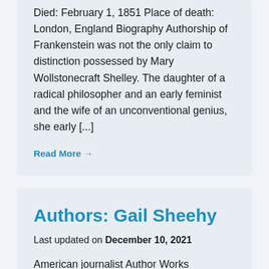Died: February 1, 1851 Place of death: London, England Biography Authorship of Frankenstein was not the only claim to distinction possessed by Mary Wollstonecraft Shelley. The daughter of a radical philosopher and an early feminist and the wife of an unconventional genius, she early [...]
Read More →
Authors: Gail Sheehy
Last updated on December 10, 2021
American journalist Author Works Nonfiction: Speed Is the Essence, 1971 Panthermania: The